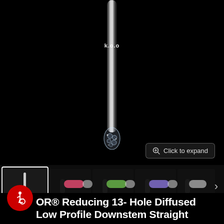[Figure (photo): Product photo of a KOOV brand glass downstem/diffuser tube on a black background. The transparent glass tube is shown vertically with the brand logo 'KOOV' visible near the top, and a diffused multi-hole end at the bottom of the tube.]
Click to expand
[Figure (photo): Thumbnail strip showing multiple color variants of the glass downstem: black/clear (selected/active), pink/rose, green/lime, purple/lavender, and silver/clear variants.]
REWARDS $
OR® Reducing 13- Hole Diffused Low Profile Downstem Straight